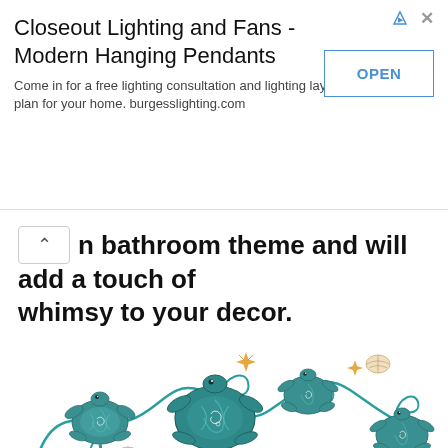[Figure (infographic): Advertisement banner for 'Closeout Lighting and Fans - Modern Hanging Pendants' with OPEN button. Text: Come in for a free lighting consultation and lighting layout plan for your home. burgesslighting.com]
n bathroom theme and will add a touch of whimsy to your decor.
[Figure (illustration): Decorative metal wall art featuring four teal/blue sea turtles with spiral shell patterns, connected by curving teal wire scrolls. Decorative starfish and seashells are attached. Ocean/beach theme home decor product.]